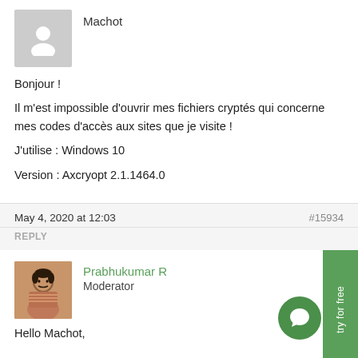[Figure (photo): Gray placeholder avatar silhouette]
Machot
Bonjour !
Il m'est impossible d'ouvrir mes fichiers cryptés qui concerne mes codes d'accès aux sites que je visite !
J'utilise : Windows 10
Version : Axcryopt 2.1.1464.0
May 4, 2020 at 12:03
#15934
REPLY
[Figure (photo): Photo of Prabhukumar R, a man in a plaid shirt]
Prabhukumar R
Moderator
Hello Machot,